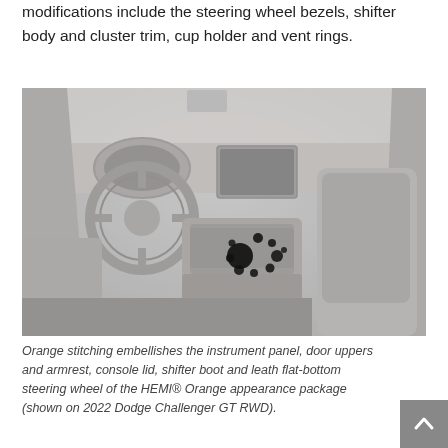modifications include the steering wheel bezels, shifter body and cluster trim, cup holder and vent rings.
[Figure (photo): Interior photo of a Dodge Challenger showing the dashboard, steering wheel, center console, and front seats. The image has a faded/low-contrast look with several black dot overlays near the center console area.]
Orange stitching embellishes the instrument panel, door uppers and armrest, console lid, shifter boot and leath... flat-bottom steering wheel of the HEMI® Orange appearance package (shown on 2022 Dodge Challenger GT RWD).